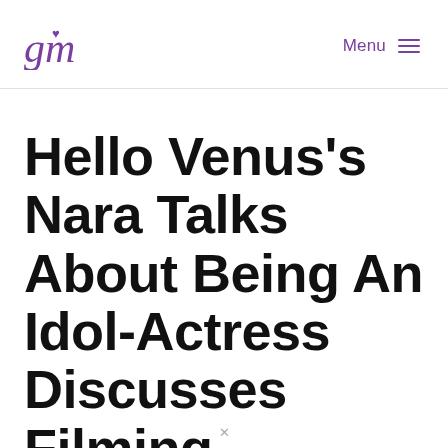Menu
Hello Venus’s Nara Talks About Being An Idol-Actress Discusses Filming Suspicious Partner